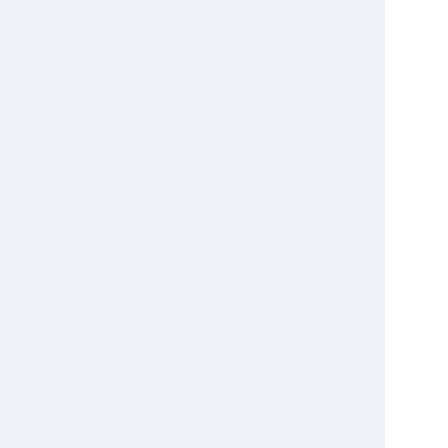[Figure (photo): Aerial/street view photo of Minsk city]
Minsk
[Figure (photo): Aerial view photo of Homyel city]
Homyel
| # | City | Voblast |
| --- | --- | --- |
| 2 | Homyel | Homyel Voblast |
| 3 | Mahilyow | Mahilyow Voblast |
| 4 | Viciebsk | Viciebsk Voblast |
| 5 | Hrodna | Hrodna Voblast |
| 6 | Brest | Brest Voblast |
| 7 | Babruysk | Mahilyow Voblast |
| 8 | Baranavichy | Brest Voblast |
| 9 | Barysaw | Minsk Voblast |
| 10 | Pinsk | Brest Voblast |
Religion and languages
Main articles: Religion in Belarus and Languages of Belarus
[Figure (photo): Photo of a church with white bell tower against blue sky with trees]